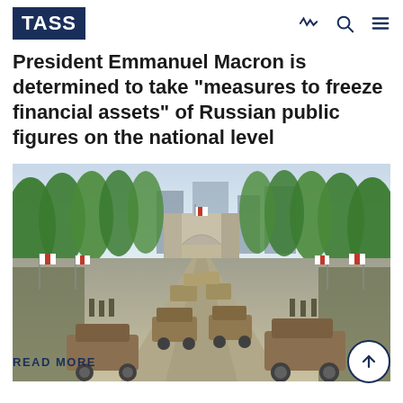TASS
President Emmanuel Macron is determined to take "measures to freeze financial assets" of Russian public figures on the national level
[Figure (photo): Military parade on the Champs-Élysées in Paris with the Arc de Triomphe in the background, showing military vehicles and soldiers marching, with French flags lining the avenue.]
READ MORE